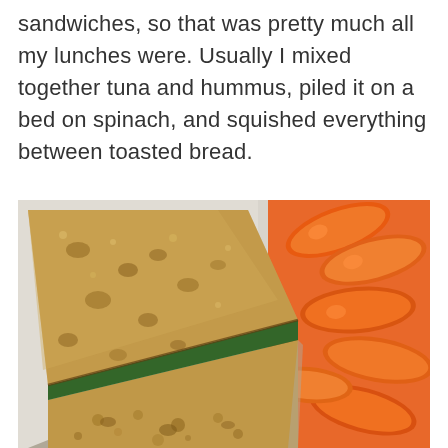sandwiches, so that was pretty much all my lunches were. Usually I mixed together tuna and hummus, piled it on a bed on spinach, and squished everything between toasted bread.
[Figure (photo): Overhead view of a toasted whole wheat sandwich cut diagonally on a white surface, with baby carrots arranged in the upper right portion of the plate.]